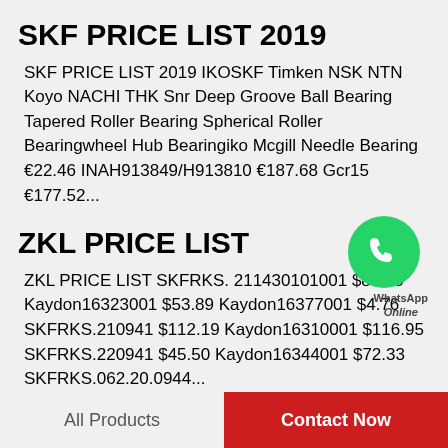SKF PRICE LIST 2019
SKF PRICE LIST 2019 IKOSKF Timken NSK NTN Koyo NACHI THK Snr Deep Groove Ball Bearing Tapered Roller Bearing Spherical Roller Bearingwheel Hub Bearingiko Mcgill Needle Bearing €22.46 INAH913849/H913810 €187.68 Gcr15 €177.52...
ZKL PRICE LIST
[Figure (logo): WhatsApp Online green circular logo with phone icon, with text 'WhatsApp Online' below]
ZKL PRICE LIST SKFRKS. 211430101001 $89.09 Kaydon16323001 $53.89 Kaydon16377001 $4.76 SKFRKS.210941 $112.19 Kaydon16310001 $116.95 SKFRKS.220941 $45.50 Kaydon16344001 $72.33 SKFRKS.062.20.0944...
All Products   Contact Now